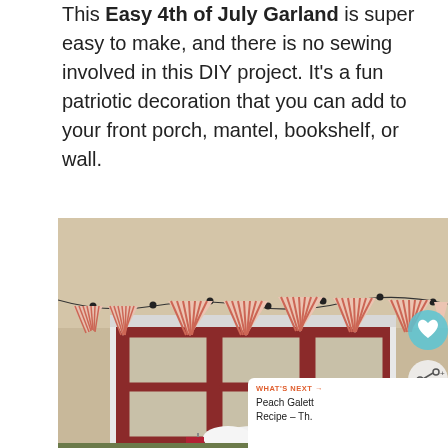This Easy 4th of July Garland is super easy to make, and there is no sewing involved in this DIY project. It's a fun patriotic decoration that you can add to your front porch, mantel, bookshelf, or wall.
[Figure (photo): Photo of a red door decorated with a red and white striped triangular pennant bunting garland. The door has six frosted glass panes arranged in two rows of three. At the bottom of the image are white and American flag decorations with flowers.]